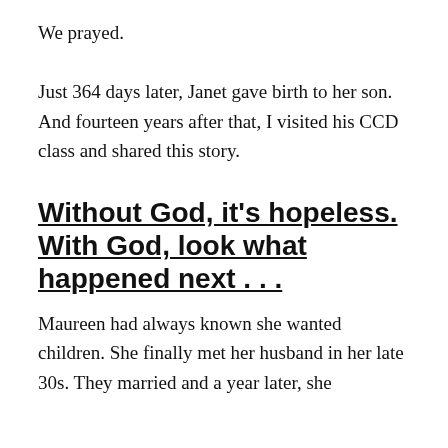We prayed.
Just 364 days later, Janet gave birth to her son. And fourteen years after that, I visited his CCD class and shared this story.
Without God, it's hopeless. With God, look what happened next . . .
Maureen had always known she wanted children. She finally met her husband in her late 30s. They married and a year later, she